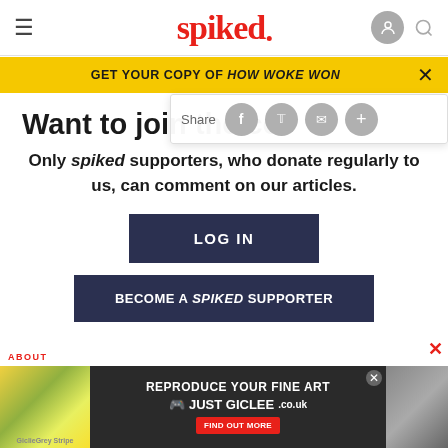spiked
GET YOUR COPY OF HOW WOKE WON
Want to join the co
Only spiked supporters, who donate regularly to us, can comment on our articles.
LOG IN
BECOME A SPIKED SUPPORTER
[Figure (screenshot): Advertisement banner: REPRODUCE YOUR FINE ART JUST GICLEE.co.uk with FIND OUT MORE button]
ABOUT